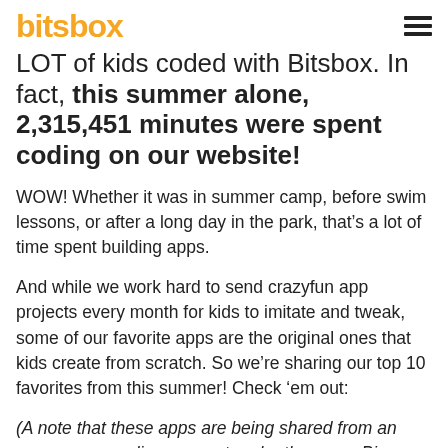bitsbox
LOT of kids coded with Bitsbox. In fact, this summer alone, 2,315,451 minutes were spent coding on our website!
WOW! Whether it was in summer camp, before swim lessons, or after a long day in the park, that’s a lot of time spent building apps.
And while we work hard to send crazyfun app projects every month for kids to imitate and tweak, some of our favorite apps are the original ones that kids create from scratch. So we’re sharing our top 10 favorites from this summer! Check ‘em out:
(A note that these apps are being shared from an anonymous coding account under the name Big